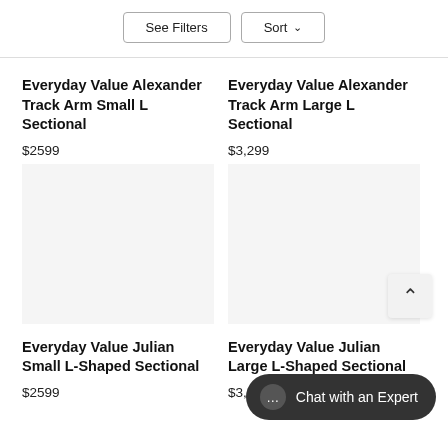See Filters  Sort
Everyday Value Alexander Track Arm Small L Sectional
$2599
Everyday Value Alexander Track Arm Large L Sectional
$3,299
Everyday Value Julian Small L-Shaped Sectional
$2599
Everyday Value Julian Large L-Shaped Sectional
$3,299